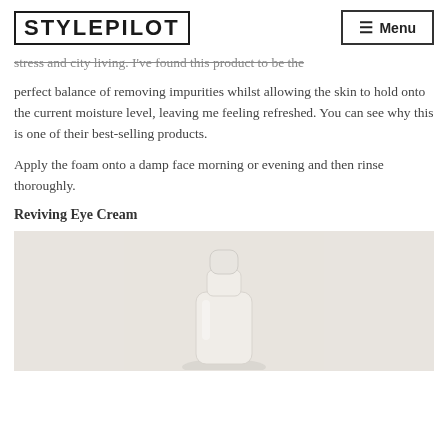STYLEPILOT | Menu
stress and city living. I've found this product to be the perfect balance of removing impurities whilst allowing the skin to hold onto the current moisture level, leaving me feeling refreshed. You can see why this is one of their best-selling products.
Apply the foam onto a damp face morning or evening and then rinse thoroughly.
Reviving Eye Cream
[Figure (photo): A white cream/eye cream product container photographed against a light beige/cream background]